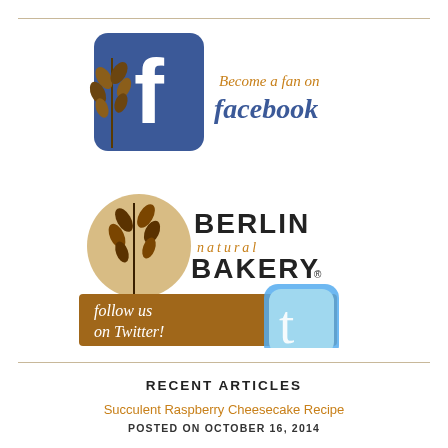[Figure (logo): Facebook social media promotional banner with wheat/grain logo overlaid on Facebook 'f' icon, text reading 'Become a fan on facebook' in orange and blue]
[Figure (logo): Berlin Natural Bakery logo with wheat stalks and circular brown background, below it a brown Twitter promotional banner reading 'follow us on Twitter!' with Twitter bird icon]
RECENT ARTICLES
Succulent Raspberry Cheesecake Recipe
POSTED ON OCTOBER 16, 2014